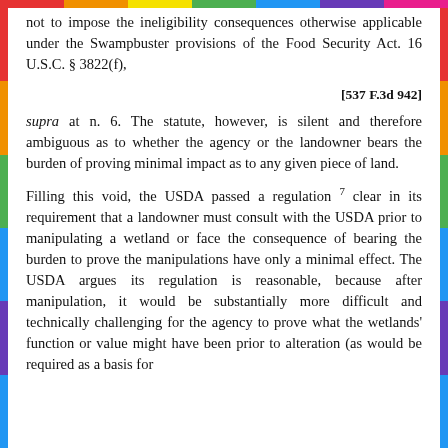not to impose the ineligibility consequences otherwise applicable under the Swampbuster provisions of the Food Security Act. 16 U.S.C. § 3822(f),
[537 F.3d 942]
supra at n. 6. The statute, however, is silent and therefore ambiguous as to whether the agency or the landowner bears the burden of proving minimal impact as to any given piece of land.
Filling this void, the USDA passed a regulation 7 clear in its requirement that a landowner must consult with the USDA prior to manipulating a wetland or face the consequence of bearing the burden to prove the manipulations have only a minimal effect. The USDA argues its regulation is reasonable, because after manipulation, it would be substantially more difficult and technically challenging for the agency to prove what the wetlands' function or value might have been prior to alteration (as would be required as a basis for